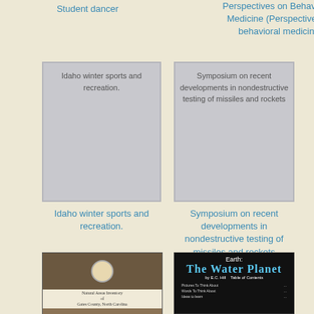Student dancer
Perspectives on Behavioural Medicine (Perspectives on behavioral medicine)
[Figure (illustration): Book cover placeholder for 'Idaho winter sports and recreation.' showing gray cover with text]
Idaho winter sports and recreation.
[Figure (illustration): Book cover placeholder for 'Symposium on recent developments in nondestructive testing of missiles and rockets' showing gray cover with text]
Symposium on recent developments in nondestructive testing of missiles and rockets
[Figure (photo): Book cover thumbnail for 'Natural Areas Inventory of Gates County, North Carolina']
[Figure (photo): Book cover thumbnail for 'Earth: The Water Planet' showing black cover with blue text and table of contents]